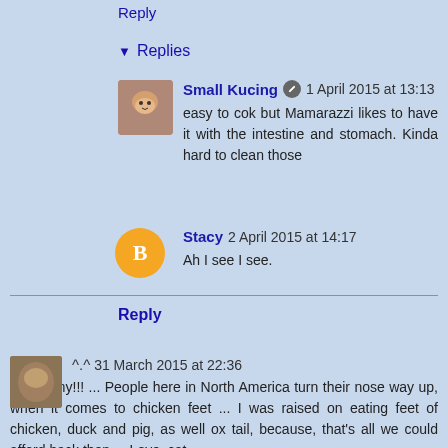Reply
▼ Replies
Small Kucing  1 April 2015 at 13:13
easy to cok but Mamarazzi likes to have it with the intestine and stomach. Kinda hard to clean those
Stacy  2 April 2015 at 14:17
Ah I see I see.
Reply
^.^  31 March 2015 at 22:36
... Yummy!!! ... People here in North America turn their nose way up, when it comes to chicken feet ... I was raised on eating feet of chicken, duck and pig, as well ox tail, because, that's all we could afford back then ... Love, cat